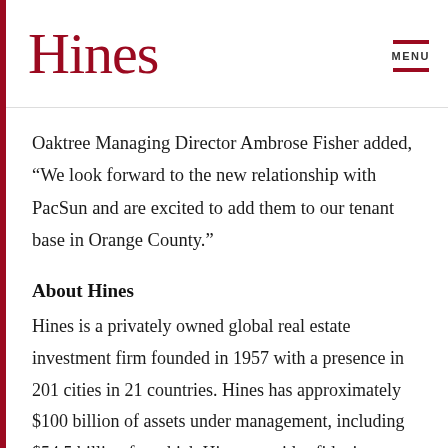Hines
MENU
Oaktree Managing Director Ambrose Fisher added, “We look forward to the new relationship with PacSun and are excited to add them to our tenant base in Orange County.”
About Hines
Hines is a privately owned global real estate investment firm founded in 1957 with a presence in 201 cities in 21 countries. Hines has approximately $100 billion of assets under management, including $54.5 billion for which Hines provides fiduciary investment management services, and $45.5 billion for which Hines provides third-party property-level